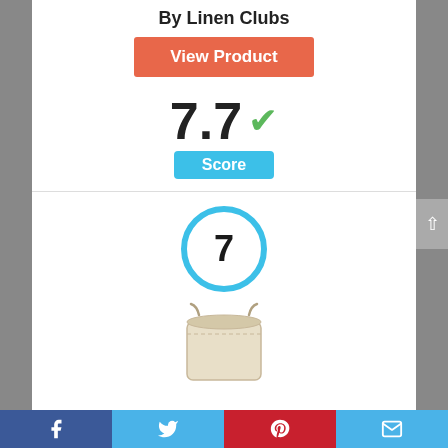By Linen Clubs
[Figure (other): Orange 'View Product' button]
7.7 ✓
Score
[Figure (other): Number 7 inside a blue circle, ranking badge]
[Figure (photo): Drawstring cotton bag product photo, natural beige color]
Facebook | Twitter | Pinterest | Email social share bar